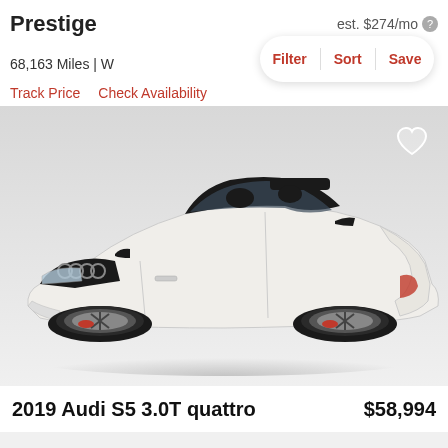Prestige
est. $274/mo
68,163 Miles | W
Filter  Sort  Save
Track Price   Check Availability
[Figure (photo): White 2019 Audi S5 3.0T quattro convertible with black interior, photographed from a front three-quarter angle on a light gray background. A heart/favorite icon appears in the top right corner.]
2019 Audi S5 3.0T quattro   $58,994